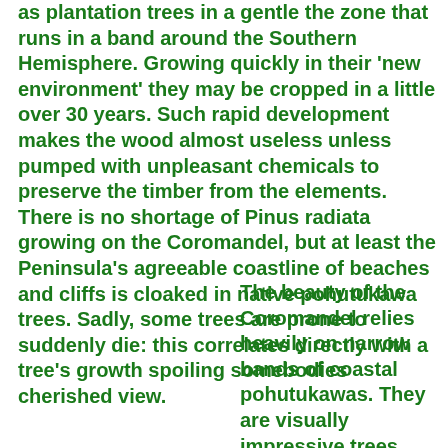as plantation trees in a gentle the zone that runs in a band around the Southern Hemisphere. Growing quickly in their 'new environment' they may be cropped in a little over 30 years. Such rapid development makes the wood almost useless unless pumped with unpleasant chemicals to preserve the timber from the elements. There is no shortage of Pinus radiata growing on the Coromandel, but at least the Peninsula's agreeable coastline of beaches and cliffs is cloaked in native pohutukawa trees. Sadly, some trees are prone to suddenly die: this correlates directly with a tree's growth spoiling somebodies cherished view.
The beauty of the Coromandel relies heavily on narrow bands of coastal pohutukawas. They are visually impressive trees, especially when